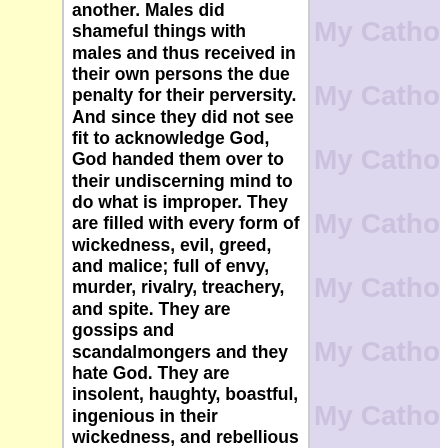another. Males did shameful things with males and thus received in their own persons the due penalty for their perversity. And since they did not see fit to acknowledge God, God handed them over to their undiscerning mind to do what is improper. They are filled with every form of wickedness, evil, greed, and malice; full of envy, murder, rivalry, treachery, and spite. They are gossips and scandalmongers and they hate God. They are insolent, haughty, boastful, ingenious in their wickedness, and rebellious toward their parents. They are senseless, faithless, heartless, ruthless. Although they know the just decree of God that all who practice such things deserve death, they not only do them